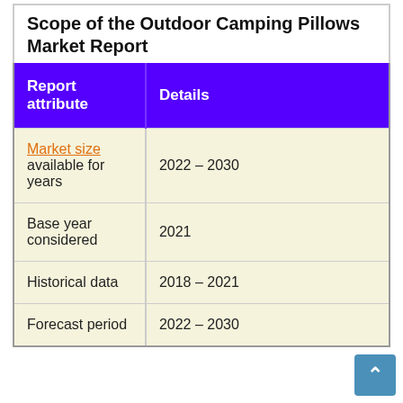Scope of the Outdoor Camping Pillows Market Report
| Report attribute | Details |
| --- | --- |
| Market size available for years | 2022 – 2030 |
| Base year considered | 2021 |
| Historical data | 2018 – 2021 |
| Forecast period | 2022 – 2030 |